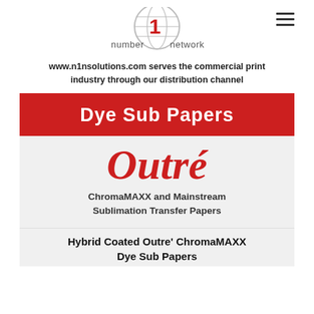[Figure (logo): Number 1 Network logo with globe icon and red numeral 1]
www.n1nsolutions.com serves the commercial print industry through our distribution channel
Dye Sub Papers
Outré
ChromaMAXX and Mainstream Sublimation Transfer Papers
Hybrid Coated Outre' ChromaMAXX Dye Sub Papers